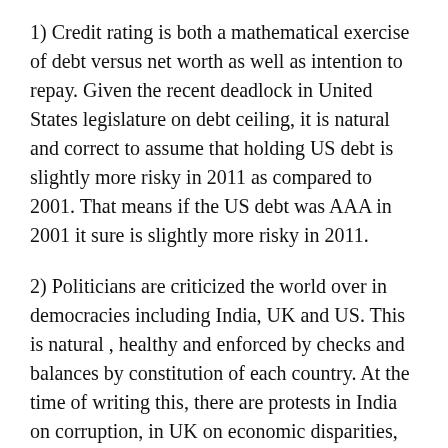1) Credit rating is both a mathematical exercise of debt versus net worth as well as intention to repay. Given the recent deadlock in United States legislature on debt ceiling, it is natural and correct to assume that holding US debt is slightly more risky in 2011 as compared to 2001. That means if the US debt was AAA in 2001 it sure is slightly more risky in 2011.
2) Politicians are criticized the world over in democracies including India, UK and US. This is natural , healthy and enforced by checks and balances by constitution of each country. At the time of writing this, there are protests in India on corruption, in UK on economic disparities, in US on debt vs tax vs spending, Israel on